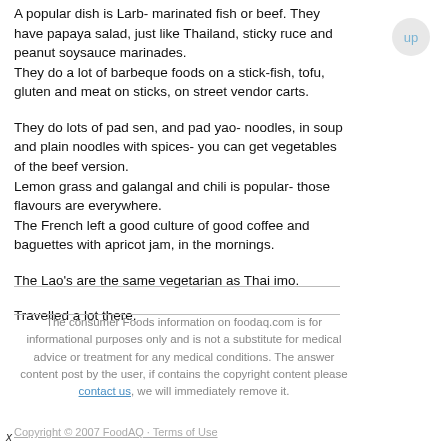A popular dish is Larb- marinated fish or beef. They have papaya salad, just like Thailand, sticky ruce and peanut soysauce marinades.
They do a lot of barbeque foods on a stick-fish, tofu, gluten and meat on sticks, on street vendor carts.
They do lots of pad sen, and pad yao- noodles, in soup and plain noodles with spices- you can get vegetables of the beef version.
Lemon grass and galangal and chili is popular- those flavours are everywhere.
The French left a good culture of good coffee and baguettes with apricot jam, in the mornings.
The Lao's are the same vegetarian as Thai imo.
Travelled a lot there.
The consumer Foods information on foodaq.com is for informational purposes only and is not a substitute for medical advice or treatment for any medical conditions. The answer content post by the user, if contains the copyright content please contact us, we will immediately remove it.
Copyright © 2007 FoodAQ · Terms of Use